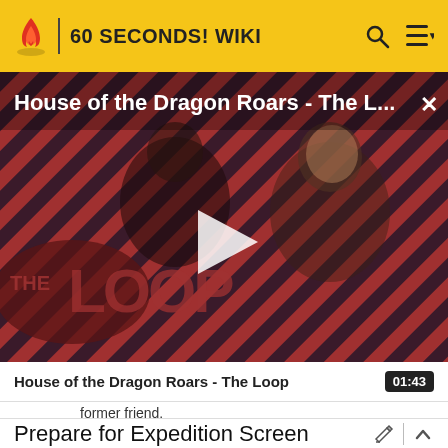60 SECONDS! WIKI
[Figure (screenshot): Video thumbnail for 'House of the Dragon Roars - The Loop' showing two characters on a diagonal striped red-and-black background with THE LOOP logo overlay and a play button.]
House of the Dragon Roars - The L...
01:43
former friend.
Prepare for Expedition Screen